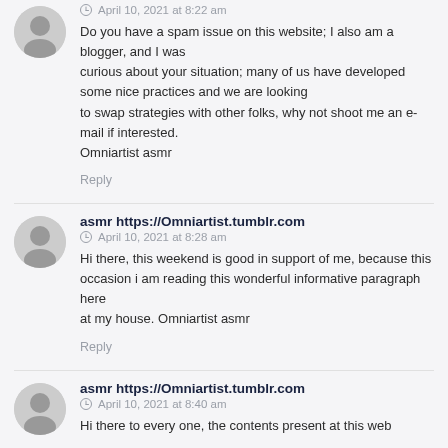April 10, 2021 at 8:22 am
Do you have a spam issue on this website; I also am a blogger, and I was curious about your situation; many of us have developed some nice practices and we are looking to swap strategies with other folks, why not shoot me an e-mail if interested. Omniartist asmr
Reply
asmr https://Omniartist.tumblr.com
April 10, 2021 at 8:28 am
Hi there, this weekend is good in support of me, because this occasion i am reading this wonderful informative paragraph here at my house. Omniartist asmr
Reply
asmr https://Omniartist.tumblr.com
April 10, 2021 at 8:40 am
Hi there to every one, the contents present at this web